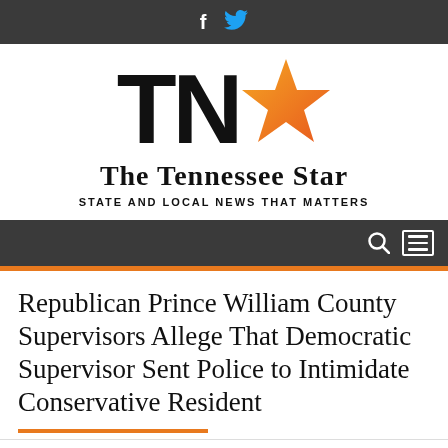Social icons: Facebook, Twitter
[Figure (logo): The Tennessee Star logo: large bold TN letters with an orange star, and subtitle 'The Tennessee Star' with tagline 'STATE AND LOCAL NEWS THAT MATTERS']
Navigation bar with search and menu icons
Republican Prince William County Supervisors Allege That Democratic Supervisor Sent Police to Intimidate Conservative Resident